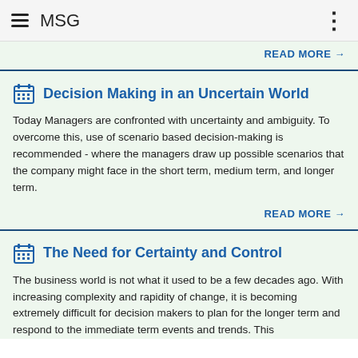MSG
READ MORE →
Decision Making in an Uncertain World
Today Managers are confronted with uncertainty and ambiguity. To overcome this, use of scenario based decision-making is recommended - where the managers draw up possible scenarios that the company might face in the short term, medium term, and longer term.
READ MORE →
The Need for Certainty and Control
The business world is not what it used to be a few decades ago. With increasing complexity and rapidity of change, it is becoming extremely difficult for decision makers to plan for the longer term and respond to the immediate term events and trends. This.